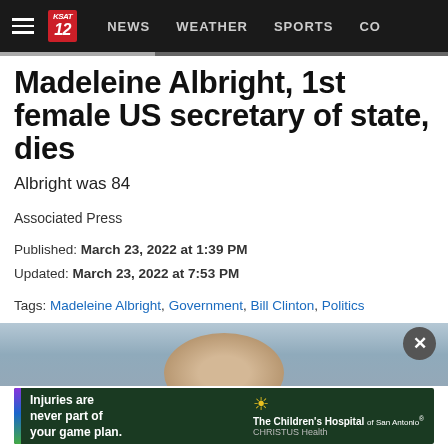NEWS  WEATHER  SPORTS  CO
Madeleine Albright, 1st female US secretary of state, dies
Albright was 84
Associated Press
Published: March 23, 2022 at 1:39 PM
Updated: March 23, 2022 at 7:53 PM
Tags: Madeleine Albright, Government, Bill Clinton, Politics
Full Screen
1 / 15
[Figure (photo): Partially visible photo of Madeleine Albright, blurred/cropped at bottom of page]
Injuries are never part of your game plan.  The Children's Hospital of San Antonio  CHRISTUS Health